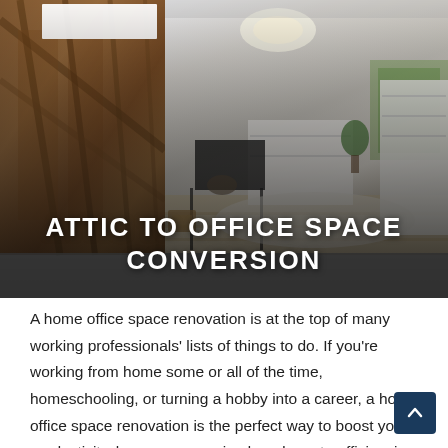[Figure (photo): Split image showing attic before and after renovation: left side shows raw wood attic framing with insulation; right side shows finished modern office space with skylights, hardwood floor, white shelving, desk, and plants. Bold white text overlay reads 'ATTIC TO OFFICE SPACE CONVERSION'.]
A home office space renovation is at the top of many working professionals' lists of things to do. If you're working from home some or all of the time, homeschooling, or turning a hobby into a career, a home office space renovation is the perfect way to boost your productivity, keep you organized, and create efficiencies for your